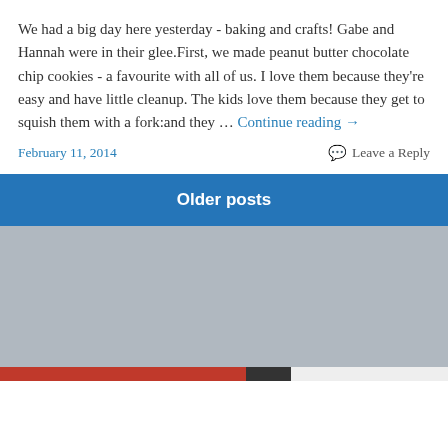We had a big day here yesterday - baking and crafts! Gabe and Hannah were in their glee.First, we made peanut butter chocolate chip cookies - a favourite with all of us. I love them because they're easy and have little cleanup. The kids love them because they get to squish them with a fork:and they … Continue reading →
February 11, 2014
💬 Leave a Reply
Older posts
Privacy & Cookies: This site uses cookies. By continuing to use this website, you agree to their use.
To find out more, including how to control cookies, see here: Cookie Policy
Close and accept